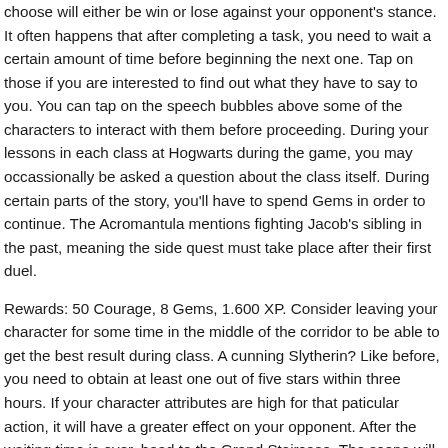choose will either be win or lose against your opponent's stance. It often happens that after completing a task, you need to wait a certain amount of time before beginning the next one. Tap on those if you are interested to find out what they have to say to you. You can tap on the speech bubbles above some of the characters to interact with them before proceeding. During your lessons in each class at Hogwarts during the game, you may occassionally be asked a question about the class itself. During certain parts of the story, you'll have to spend Gems in order to continue. The Acromantula mentions fighting Jacob's sibling in the past, meaning the side quest must take place after their first duel.
Rewards: 50 Courage, 8 Gems, 1.600 XP. Consider leaving your character for some time in the middle of the corridor to be able to get the best result during class. A cunning Slytherin? Like before, you need to obtain at least one out of five stars within three hours. If your character attributes are high for that paticular action, it will have a greater effect on your opponent. After the waiting time is over, head to the Grand Staircase. The scene will play out quite differently depending on your choice. The statue to your right,